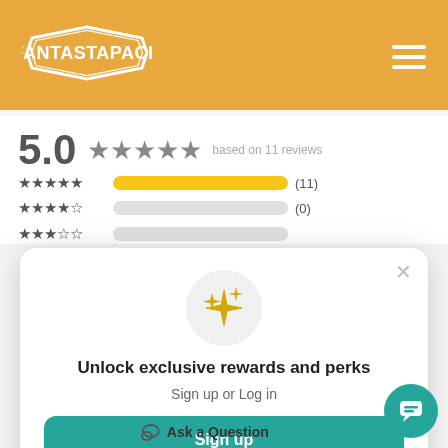FANTASTAPACK
5.0 ★★★★★ based on 11 reviews
[Figure (bar-chart): Rating distribution]
Unlock exclusive rewards and perks
Sign up or Log in
Sign up
Already have an account? Sign in
Ask a Question